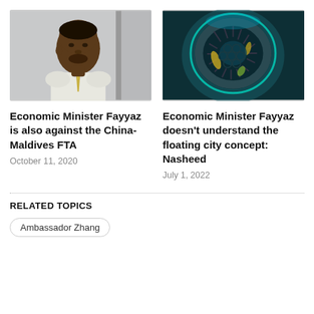[Figure (photo): Portrait photo of Economic Minister Fayyaz, a man in a light shirt and yellow tie looking to the side]
[Figure (photo): Aerial or satellite image of the Maldives floating city concept, showing a circular reef-like structure from above with glowing outlines on a dark teal background]
Economic Minister Fayyaz is also against the China-Maldives FTA
October 11, 2020
Economic Minister Fayyaz doesn't understand the floating city concept: Nasheed
July 1, 2022
RELATED TOPICS
Ambassador Zhang